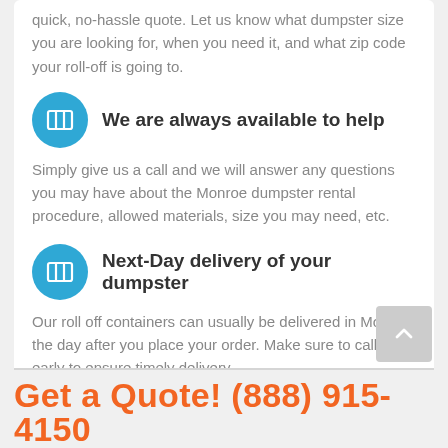quick, no-hassle quote. Let us know what dumpster size you are looking for, when you need it, and what zip code your roll-off is going to.
We are always available to help
Simply give us a call and we will answer any questions you may have about the Monroe dumpster rental procedure, allowed materials, size you may need, etc.
Next-Day delivery of your dumpster
Our roll off containers can usually be delivered in Monroe the day after you place your order. Make sure to call us early to ensure timely delivery.
Get a Quote! (888) 915-4150